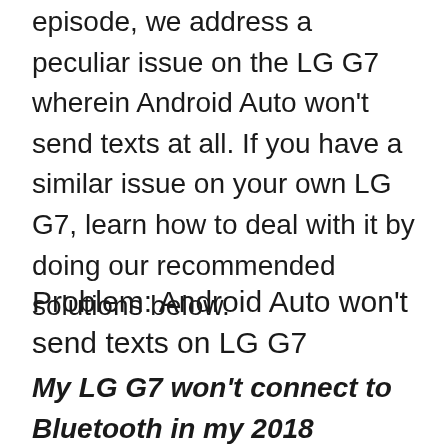episode, we address a peculiar issue on the LG G7 wherein Android Auto won't send texts at all. If you have a similar issue on your own LG G7, learn how to deal with it by doing our recommended solutions below.
Problem: Android Auto won't send texts on LG G7
My LG G7 won't connect to Bluetooth in my 2018 Hyundai Elantra Value Edition. I just received a replacement